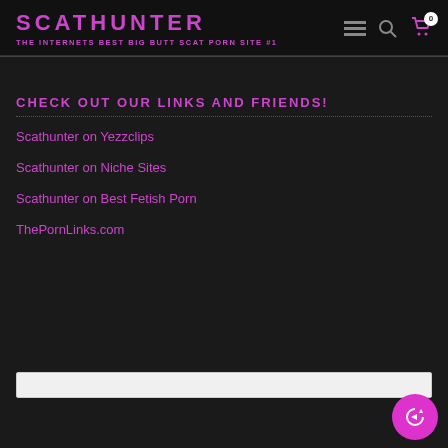SCATHUNTER — THE INTERNETS BEST BIG BUTT SCAT PORN SITE #1
CHECK OUT OUR LINKS AND FRIENDS!
Scathunter on Yezzclips
Scathunter on Niche Sites
Scathunter on Best Fetish Porn
ThePornLinks.com